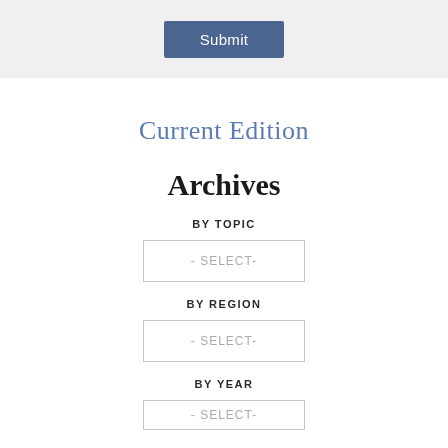[Figure (screenshot): Submit button on grey background at top of page]
Current Edition
Archives
BY TOPIC
[Figure (screenshot): - SELECT- dropdown box for BY TOPIC]
BY REGION
[Figure (screenshot): - SELECT- dropdown box for BY REGION]
BY YEAR
[Figure (screenshot): - SELECT- dropdown box for BY YEAR (partially visible)]